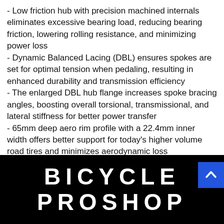- Low friction hub with precision machined internals eliminates excessive bearing load, reducing bearing friction, lowering rolling resistance, and minimizing power loss
- Dynamic Balanced Lacing (DBL) ensures spokes are set for optimal tension when pedaling, resulting in enhanced durability and transmission efficiency
- The enlarged DBL hub flange increases spoke bracing angles, boosting overall torsional, transmissional, and lateral stiffness for better power transfer
- 65mm deep aero rim profile with a 22.4mm inner width offers better support for today's higher volume road tires and minimizes aerodynamic loss
BICYCLE PROSHOP